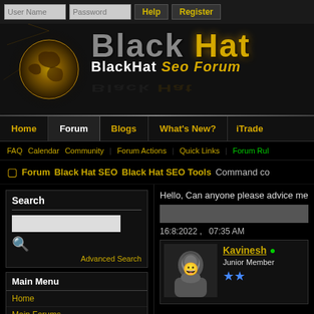[Figure (screenshot): BlackHat SEO Forum website header with login fields, logo with globe, navigation bar, breadcrumb trail, search sidebar, and forum post preview]
User Name | Password | Help | Register | Log in | Remember Me?
[Figure (logo): Black Hat SEO Forum logo with golden globe and gold/dark text]
Home | Forum | Blogs | What's New? | iTrade
FAQ  Calendar  Community  Forum Actions  Quick Links  Forum Rules
Forum  Black Hat SEO  Black Hat SEO Tools  Command co
Search
Advanced Search
Main Menu
Home
Main Forums
Hello, Can anyone please advice me
16:8:2022 ,   07:35 AM
Kavinesh • Junior Member